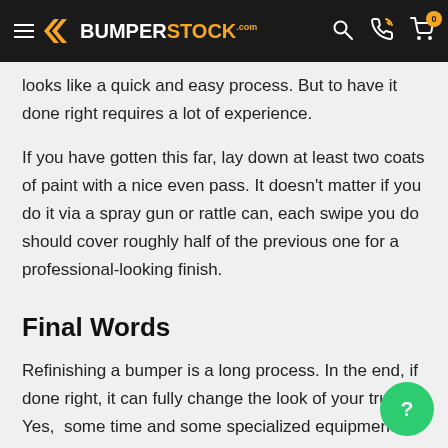BUMPERSTOCK.com
looks like a quick and easy process. But to have it done right requires a lot of experience.
If you have gotten this far, lay down at least two coats of paint with a nice even pass. It doesn't matter if you do it via a spray gun or rattle can, each swipe you do should cover roughly half of the previous one for a professional-looking finish.
Final Words
Refinishing a bumper is a long process. In the end, if done right, it can fully change the look of your truck. Yes, some time and some specialized equipment that some may not have in their garage, but the result will be worth it.